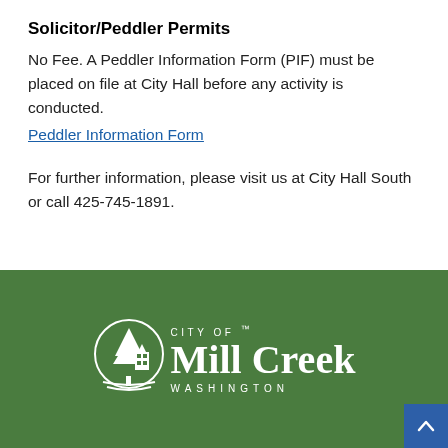Solicitor/Peddler Permits
No Fee. A Peddler Information Form (PIF) must be placed on file at City Hall before any activity is conducted.
Peddler Information Form
For further information, please visit us at City Hall South or call 425-745-1891.
[Figure (logo): City of Mill Creek Washington logo — white tree and building icon with text on green background]